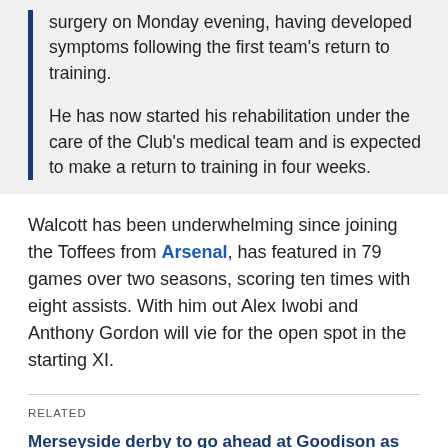surgery on Monday evening, having developed symptoms following the first team's return to training.

He has now started his rehabilitation under the care of the Club's medical team and is expected to make a return to training in four weeks.
Walcott has been underwhelming since joining the Toffees from Arsenal, has featured in 79 games over two seasons, scoring ten times with eight assists. With him out Alex Iwobi and Anthony Gordon will vie for the open spot in the starting XI.
RELATED
Merseyside derby to go ahead at Goodison as Everton and Liverpool home games approved
Everton announce staff wage deferrals